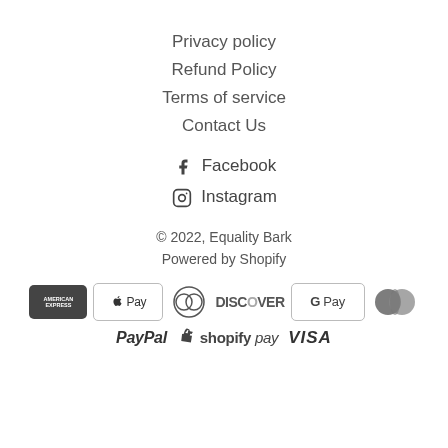Privacy policy
Refund Policy
Terms of service
Contact Us
Facebook
Instagram
© 2022, Equality Bark
Powered by Shopify
[Figure (other): Payment method logos: American Express, Apple Pay, Diners Club, Discover, Google Pay, Mastercard, PayPal, Shopify Pay, Visa]